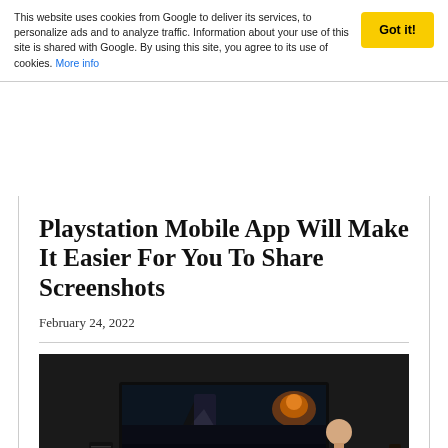This website uses cookies from Google to deliver its services, to personalize ads and to analyze traffic. Information about your use of this site is shared with Google. By using this site, you agree to its use of cookies. More info
Got it!
Playstation Mobile App Will Make It Easier For You To Share Screenshots
February 24, 2022
[Figure (photo): A person sitting in a chair playing a PlayStation console, viewed from behind, with a large TV screen showing a dark atmospheric game scene (Ghost of Tsushima).]